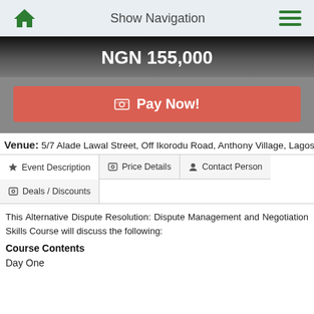Show Navigation
NGN 155,000
Pay Now!
Venue: 5/7 Alade Lawal Street, Off Ikorodu Road, Anthony Village, Lagos
Event Description
Price Details
Contact Person
Deals / Discounts
This Alternative Dispute Resolution: Dispute Management and Negotiation Skills Course will discuss the following:
Course Contents
Day One